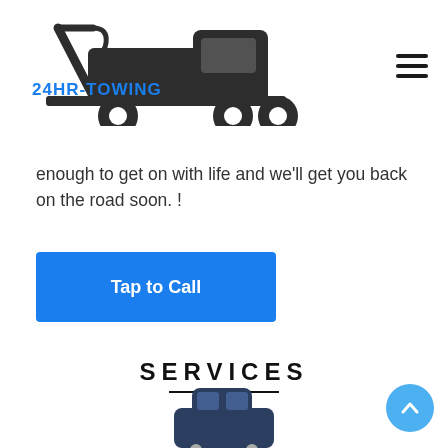[Figure (logo): 24HR-TOWING logo with tow truck icon and blue text]
enough to get on with life and we’ll get you back on the road soon. !
[Figure (other): Blue 'Tap to Call' button]
SERVICES
[Figure (illustration): Dark blue tow truck / car icon (partially visible at bottom)]
[Figure (other): Blue circular back-to-top arrow button]